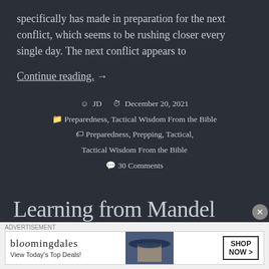specifically has made in preparation for the next conflict, which seems to be rushing closer every single day. The next conflict appears to
Continue reading. →
JD   December 20, 2021
Preparedness, Tactical Wisdom From the Bible
Preparedness, Prepping, Tactical, Tactical Wisdom From the Bible
30 Comments
Learning from Mandel
[Figure (other): Bloomingdales advertisement banner with logo, tagline 'View Today's Top Deals!' and SHOP NOW button, featuring a model wearing a wide-brim hat]